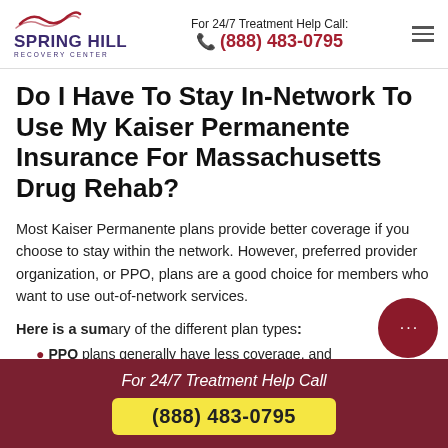For 24/7 Treatment Help Call: (888) 483-0795
Do I Have To Stay In-Network To Use My Kaiser Permanente Insurance For Massachusetts Drug Rehab?
Most Kaiser Permanente plans provide better coverage if you choose to stay within the network. However, preferred provider organization, or PPO, plans are a good choice for members who want to use out-of-network services.
Here is a summary of the different plan types:
PPO plans generally have less coverage, and
For 24/7 Treatment Help Call (888) 483-0795